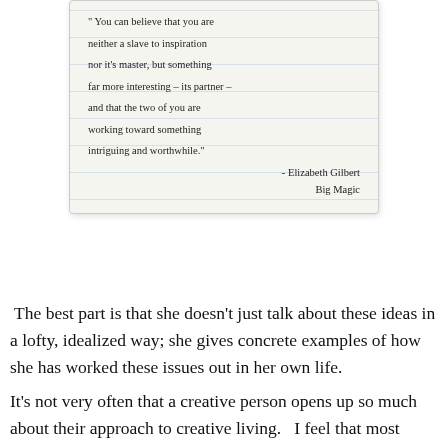[Figure (photo): A photograph of a handwritten note on lined paper inside a white-bordered card. The handwriting reads: 'You can believe that you are neither a slave to inspiration nor it's master, but something far more interesting – its partner – and that the two of you are working toward something intriguing and worthwhile.' - Elizabeth Gilbert, Big Magic]
The best part is that she doesn't just talk about these ideas in a lofty, idealized way; she gives concrete examples of how she has worked these issues out in her own life.
It's not very often that a creative person opens up so much about their approach to creative living.  I feel that most